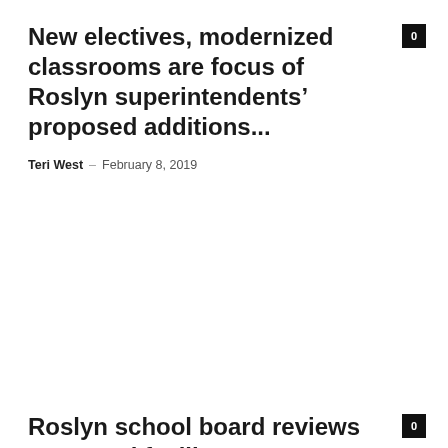New electives, modernized classrooms are focus of Roslyn superintendents’ proposed additions...
Teri West – February 8, 2019
Roslyn school board reviews proposed facility improvements
The Island Now – December 19, 2018